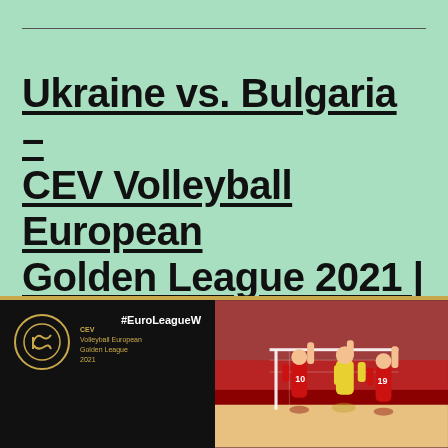Ukraine vs. Bulgaria – CEV Volleyball European Golden League 2021 | Women
[Figure (photo): Split image showing left side: black background with CEV Volleyball European Golden League 2021 logo (gold circle with stylized V) and #EuroLeagueW hashtag text. Right side: volleyball match action photo with players jumping at the net, one player in yellow and two in red jerseys with numbers 10 and 19, blocking, with stadium crowd in background.]